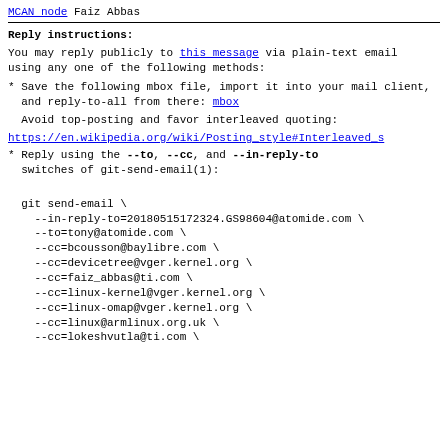MCAN node Faiz Abbas
Reply instructions:
You may reply publicly to this message via plain-text email
using any one of the following methods:
* Save the following mbox file, import it into your mail client,
  and reply-to-all from there: mbox
Avoid top-posting and favor interleaved quoting:
https://en.wikipedia.org/wiki/Posting_style#Interleaved_s
* Reply using the --to, --cc, and --in-reply-to switches of git-send-email(1):
git send-email \
    --in-reply-to=20180515172324.GS98604@atomide.com \
    --to=tony@atomide.com \
    --cc=bcousson@baylibre.com \
    --cc=devicetree@vger.kernel.org \
    --cc=faiz_abbas@ti.com \
    --cc=linux-kernel@vger.kernel.org \
    --cc=linux-omap@vger.kernel.org \
    --cc=linux@armlinux.org.uk \
    --cc=lokeshvutla@ti.com \